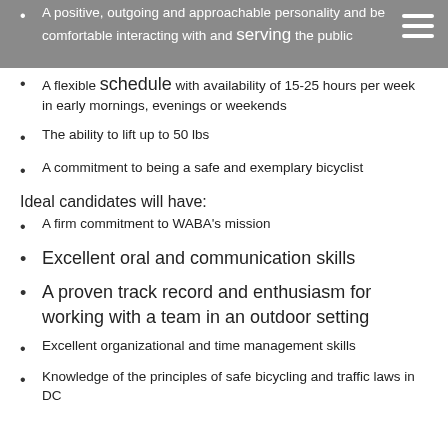A positive, outgoing and approachable personality and be comfortable interacting with and serving the public
A flexible schedule with availability of 15-25 hours per week in early mornings, evenings or weekends
The ability to lift up to 50 lbs
A commitment to being a safe and exemplary bicyclist
Ideal candidates will have:
A firm commitment to WABA's mission
Excellent oral and communication skills
A proven track record and enthusiasm for working with a team in an outdoor setting
Excellent organizational and time management skills
Knowledge of the principles of safe bicycling and traffic laws in DC